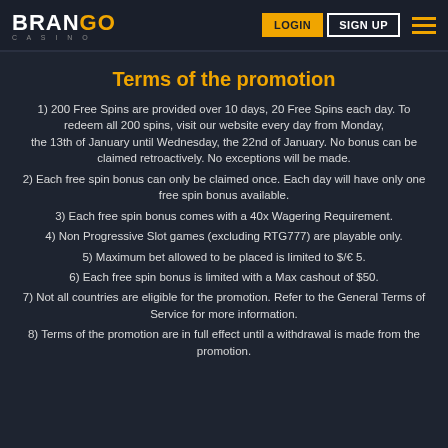BRANGO CASINO | LOGIN | SIGN UP
Terms of the promotion
1) 200 Free Spins are provided over 10 days, 20 Free Spins each day. To redeem all 200 spins, visit our website every day from Monday, the 13th of January until Wednesday, the 22nd of January. No bonus can be claimed retroactively. No exceptions will be made.
2) Each free spin bonus can only be claimed once. Each day will have only one free spin bonus available.
3) Each free spin bonus comes with a 40x Wagering Requirement.
4) Non Progressive Slot games (excluding RTG777) are playable only.
5) Maximum bet allowed to be placed is limited to $/€ 5.
6) Each free spin bonus is limited with a Max cashout of $50.
7) Not all countries are eligible for the promotion. Refer to the General Terms of Service for more information.
8) Terms of the promotion are in full effect until a withdrawal is made from the promotion.